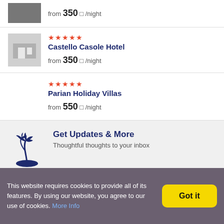from 350 □ /night
[Figure (photo): Hotel room photo thumbnail]
★★★★★ Castello Casole Hotel from 350 □ /night
★★★★★ Parian Holiday Villas from 550 □ /night
[Figure (illustration): Palm tree island icon]
Get Updates & More
Thoughtful thoughts to your inbox
This website requires cookies to provide all of its features. By using our website, you agree to our use of cookies. More Info